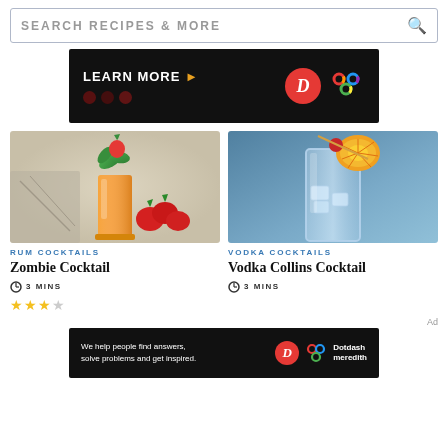SEARCH RECIPES & MORE
[Figure (other): Advertisement banner with 'LEARN MORE' text on black background with Dotdash Meredith logos]
[Figure (photo): Zombie cocktail – orange drink in a tall glass garnished with strawberry and mint leaves, with fresh strawberries around the base]
[Figure (photo): Vodka Collins Cocktail – clear drink in a tall glass with ice, garnished with orange slice and cherry on a toothpick, on blue background]
RUM COCKTAILS
Zombie Cocktail
3 MINS
VODKA COCKTAILS
Vodka Collins Cocktail
3 MINS
[Figure (other): Dotdash Meredith advertisement: 'We help people find answers, solve problems and get inspired.' with Dotdash Meredith logo]